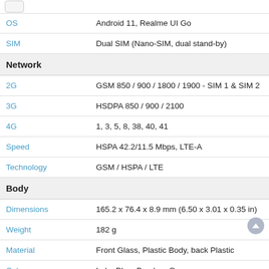| Property | Value |
| --- | --- |
| OS | Android 11, Realme UI Go |
| SIM | Dual SIM (Nano-SIM, dual stand-by) |
| Network |  |
| 2G | GSM 850 / 900 / 1800 / 1900 - SIM 1 & SIM 2 |
| 3G | HSDPA 850 / 900 / 2100 |
| 4G | 1, 3, 5, 8, 38, 40, 41 |
| Speed | HSPA 42.2/11.5 Mbps, LTE-A |
| Technology | GSM / HSPA / LTE |
| Body |  |
| Dimensions | 165.2 x 76.4 x 8.9 mm (6.50 x 3.01 x 0.35 in) |
| Weight | 182 g |
| Material | Front Glass, Plastic Body, back Plastic |
| Color | Lake Blue, Bamboo Green |
| Display |  |